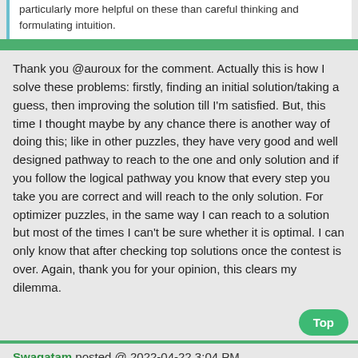particularly more helpful on these than careful thinking and formulating intuition.
Thank you @auroux for the comment. Actually this is how I solve these problems: firstly, finding an initial solution/taking a guess, then improving the solution till I'm satisfied. But, this time I thought maybe by any chance there is another way of doing this; like in other puzzles, they have very good and well designed pathway to reach to the one and only solution and if you follow the logical pathway you know that every step you take you are correct and will reach to the only solution. For optimizer puzzles, in the same way I can reach to a solution but most of the times I can't be sure whether it is optimal. I can only know that after checking top solutions once the contest is over. Again, thank you for your opinion, this clears my dilemma.
Top
Swagatam posted @ 2022-04-22 3:04 PM
About the Record Score Example posted by Kiwiiom, is that a